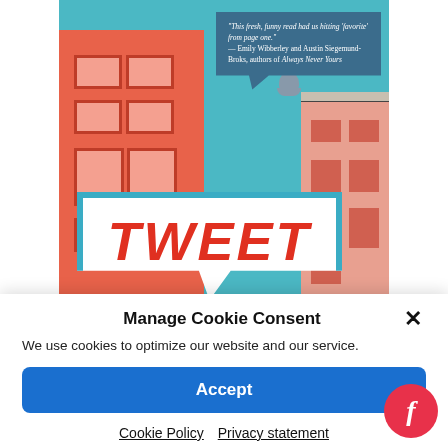[Figure (illustration): Book cover illustration showing a teal-blue sky background with an orange brick building on the left with windows, a smaller peach-colored building on the right, a pigeon perched on a ledge, a dark blue speech bubble in the upper right with a quote reading: 'This fresh, funny read had us hitting 'favorite' from page one.' — Emily Wibberley and Austin Siegemund-Broks, authors of Always Never Yours', and a large white speech bubble with teal border in the lower center with the word 'TWEET' in bold red italic letters.]
Manage Cookie Consent
We use cookies to optimize our website and our service.
Accept
Cookie Policy   Privacy statement